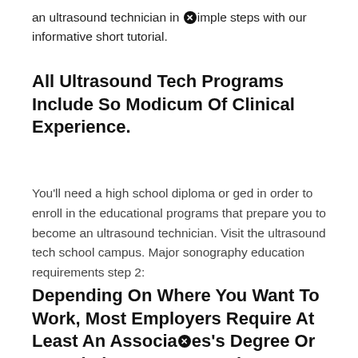an ultrasound technician in ⊗imple steps with our informative short tutorial.
All Ultrasound Tech Programs Include So Modicum Of Clinical Experience.
You'll need a high school diploma or ged in order to enroll in the educational programs that prepare you to become an ultrasound technician. Visit the ultrasound tech school campus. Major sonography education requirements step 2:
Depending On Where You Want To Work, Most Employers Require At Least An Associates's Degree Or A Bachelor Degree In Sole T...